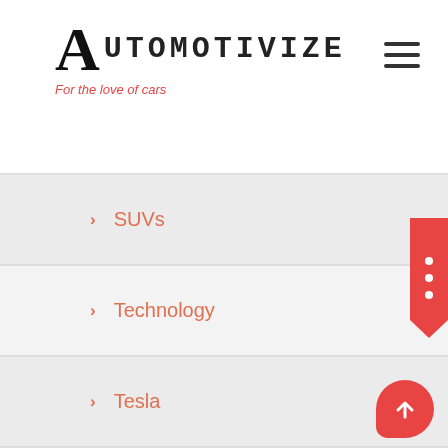AUTOMOTIVIZE – For the love of cars
> SUVs
> Technology
> Tesla
> Toyota
> trim
> Trucks
> Uncategorized